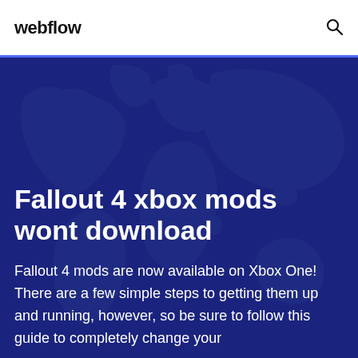webflow
Fallout 4 xbox mods wont download
Fallout 4 mods are now available on Xbox One! There are a few simple steps to getting them up and running, however, so be sure to follow this guide to completely change your